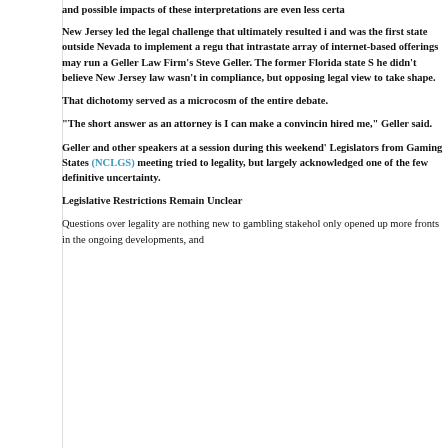and possible impacts of these interpretations are even less certa
New Jersey led the legal challenge that ultimately resulted i and was the first state outside Nevada to implement a regu that intrastate array of internet-based offerings may run a Geller Law Firm’s Steve Geller. The former Florida state S he didn’t believe New Jersey law wasn’t in compliance, but opposing legal view to take shape.
That dichotomy served as a microcosm of the entire debate.
“The short answer as an attorney is I can make a convincin hired me,” Geller said.
Geller and other speakers at a session during this weekend’ Legislators from Gaming States (NCLGS) meeting tried to legality, but largely acknowledged one of the few definitive uncertainty.
Legislative Restrictions Remain Unclear
Questions over legality are nothing new to gambling stakehol only opened up more fronts in the ongoing developments, and